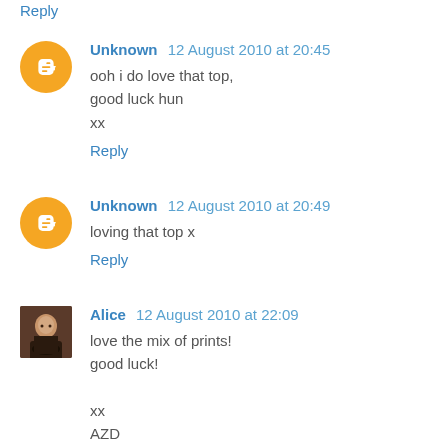Reply
Unknown  12 August 2010 at 20:45
ooh i do love that top,
good luck hun
xx
Reply
Unknown  12 August 2010 at 20:49
loving that top x
Reply
Alice  12 August 2010 at 22:09
love the mix of prints!
good luck!

xx
AZD